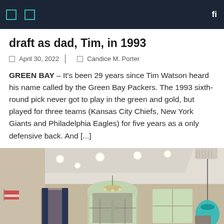Navigation bar with icons
draft as dad, Tim, in 1993
April 30, 2022    Candice M. Porter
GREEN BAY – It's been 29 years since Tim Watson heard his name called by the Green Bay Packers. The 1993 sixth-round pick never got to play in the green and gold, but played for three teams (Kansas City Chiefs, New York Giants and Philadelphia Eagles) for five years as a only defensive back. And [...]
[Figure (photo): Interior room photo showing a large open living/lobby space with tan walls, recessed lighting, hardwood floors, French doors, windows, a chandelier, and a teal decorative pendant light on the right side.]